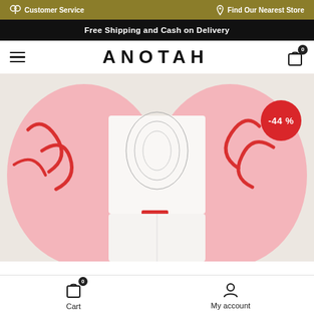Customer Service | Find Our Nearest Store
Free Shipping and Cash on Delivery
ANOTAH
[Figure (photo): Woman wearing a pink jacket with red print pattern over a graphic white t-shirt and white pants, showing a small red Coca-Cola branded label on the waistband. Fashion product photo with -44% discount badge.]
Cart  0   My account